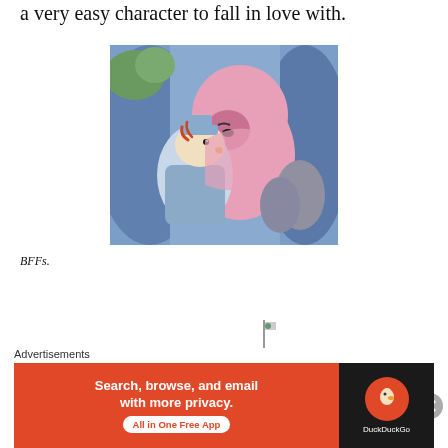a very easy character to fall in love with.
[Figure (illustration): Disney animated cartoon still showing two characters embracing — a duck in a blue outfit being hugged by a pink anthropomorphic fox or similar character, with a blue curtain background.]
BFFs.
Advertisements
[Figure (screenshot): DuckDuckGo advertisement banner: orange left panel reading 'Search, browse, and email with more privacy. All in One Free App' and dark right panel with DuckDuckGo logo.]